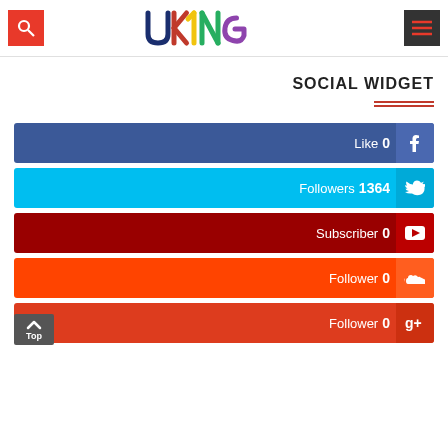[Figure (logo): UKING logo in multicolor letters]
SOCIAL WIDGET
[Figure (infographic): Five social media bars: Facebook Like 0, Twitter Followers 1364, YouTube Subscriber 0, SoundCloud Follower 0, Google+ Follower 0]